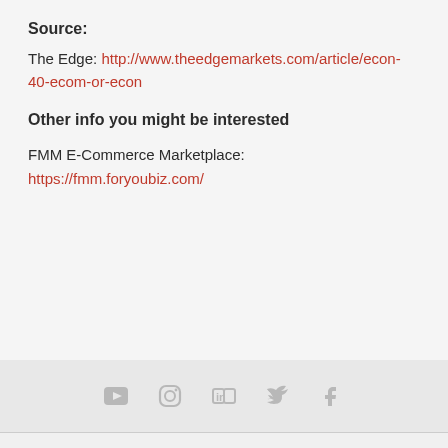Source:
The Edge: http://www.theedgemarkets.com/article/econ-40-ecom-or-econ
Other info you might be interested
FMM E-Commerce Marketplace: https://fmm.foryoubiz.com/
[Figure (infographic): Social media icons row: YouTube, Instagram, LinkedIn, Twitter, Facebook]
Copyright © Fusionex. All Rights Reserved. Site Map  Security Center  Privacy Policy  Terms of Use